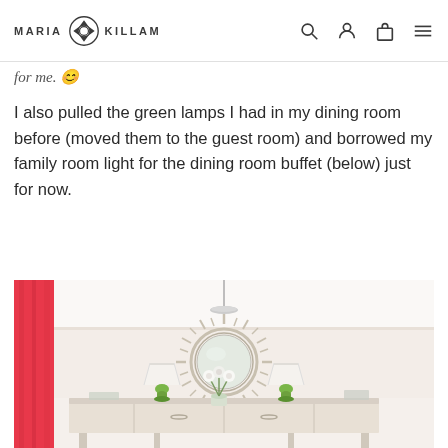MARIA KILLAM
for me. 🙂
I also pulled the green lamps I had in my dining room before (moved them to the guest room) and borrowed my family room light for the dining room buffet (below) just for now.
[Figure (photo): Interior dining room photo showing a buffet sideboard with two green lamps flanking a sunburst mirror on the wall, pink/red curtains on the left, pendant light above, white walls]